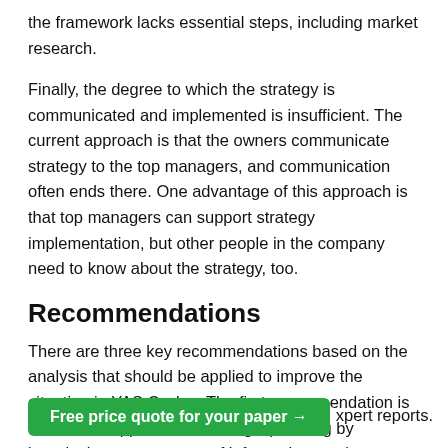the framework lacks essential steps, including market research.
Finally, the degree to which the strategy is communicated and implemented is insufficient. The current approach is that the owners communicate strategy to the top managers, and communication often ends there. One advantage of this approach is that top managers can support strategy implementation, but other people in the company need to know about the strategy, too.
Recommendations
There are three key recommendations based on the analysis that should be applied to improve the situation in YAS Cycles. The first recommendation is to alter the approach to strategic planning by introducing new sources of information, such as market research, expert reports.